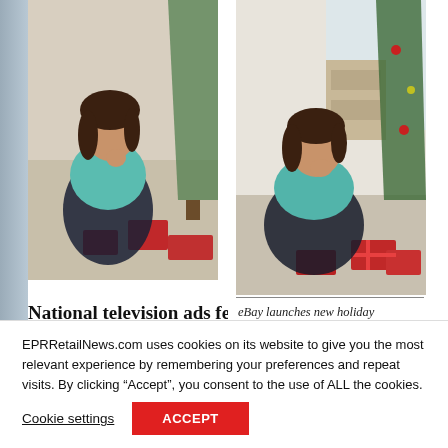[Figure (photo): Woman in teal top sitting cross-legged near Christmas tree with red gifts, holiday campaign photo (left, partially cropped)]
[Figure (photo): Woman in teal top sitting cross-legged near Christmas tree with red gifts in bright room, holiday campaign photo (right, full view)]
eBay launches new holiday campaign to inspire shoppers looking for unique gift ideas this season
National television ads feature
EPRRetailNews.com uses cookies on its website to give you the most relevant experience by remembering your preferences and repeat visits. By clicking “Accept”, you consent to the use of ALL the cookies.
Cookie settings
ACCEPT